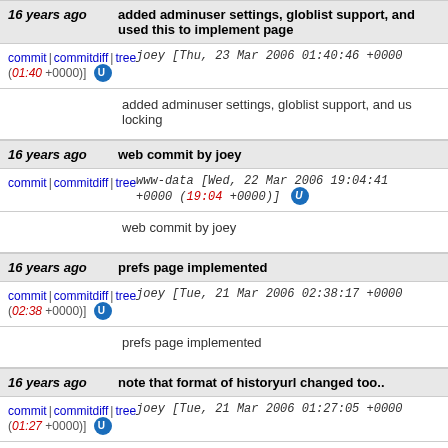16 years ago | added adminuser settings, globlist support, and used this to implement page
commit | commitdiff | tree   joey [Thu, 23 Mar 2006 01:40:46 +0000 (01:40 +0000)]
added adminuser settings, globlist support, and us... locking
16 years ago | web commit by joey
commit | commitdiff | tree   www-data [Wed, 22 Mar 2006 19:04:41 +0000 (19:04 +0000)]
web commit by joey
16 years ago | prefs page implemented
commit | commitdiff | tree   joey [Tue, 21 Mar 2006 02:38:17 +0000 (02:38 +0000)]
prefs page implemented
16 years ago | note that format of historyurl changed too..
commit | commitdiff | tree   joey [Tue, 21 Mar 2006 01:27:05 +0000 (01:27 +0000)]